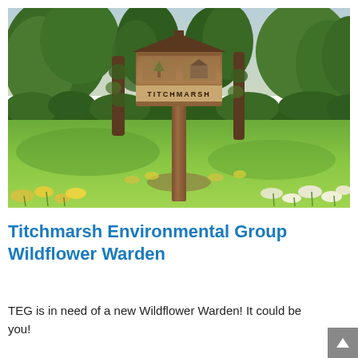[Figure (photo): Outdoor photograph of a wooden village sign reading 'TITCHMARSH' on a tall post, surrounded by trees with ivy, green grass meadow, and daffodils in the foreground and background.]
Titchmarsh Environmental Group Wildflower Warden
TEG is in need of a new Wildflower Warden! It could be you!